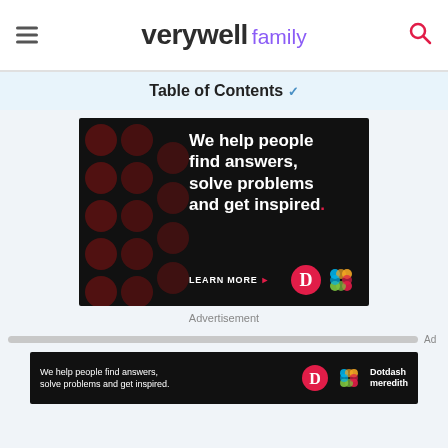verywell family
Table of Contents ˅
[Figure (infographic): Dotdash Meredith advertisement on dark background with red polka dots. Headline: 'We help people find answers, solve problems and get inspired.' with LEARN MORE call to action and Dotdash Meredith logos.]
Advertisement
[Figure (infographic): Bottom sticky Dotdash Meredith advertisement banner with text 'We help people find answers, solve problems and get inspired.' and Dotdash Meredith logos.]